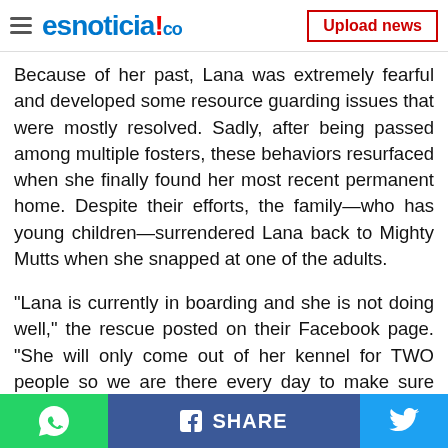esnoticia!.co — Upload news
Because of her past, Lana was extremely fearful and developed some resource guarding issues that were mostly resolved. Sadly, after being passed among multiple fosters, these behaviors resurfaced when she finally found her most recent permanent home. Despite their efforts, the family—who has young children—surrendered Lana back to Mighty Mutts when she snapped at one of the adults.
“Lana is currently in boarding and she is not doing well,” the rescue posted on their Facebook page. “She will only come out of her kennel for TWO people so we are there every day to make sure she gets walked, fed, and
Share buttons: WhatsApp, Facebook SHARE, Twitter